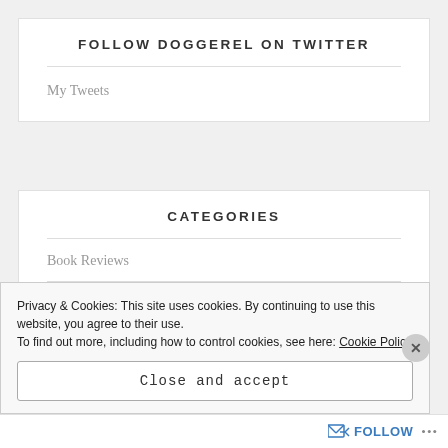FOLLOW DOGGEREL ON TWITTER
My Tweets
CATEGORIES
Book Reviews
Privacy & Cookies: This site uses cookies. By continuing to use this website, you agree to their use.
To find out more, including how to control cookies, see here: Cookie Policy
Close and accept